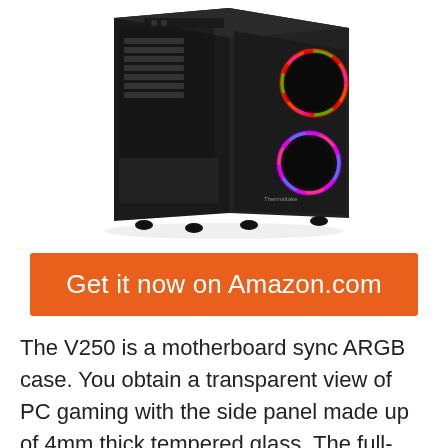[Figure (photo): A black Thermaltake V250 ATX mid-tower PC gaming case with tempered glass side panel and two ARGB fans visible on the right side with colorful RGB lighting. The case is shown at a slight angle revealing the interior and exterior. It sits on four rubber feet.]
Get it now on Amazon.com
The V250 is a motherboard sync ARGB case. You obtain a transparent view of PC gaming with the side panel made up of 4mm thick tempered glass. The full-length PSU cover offers ample space to